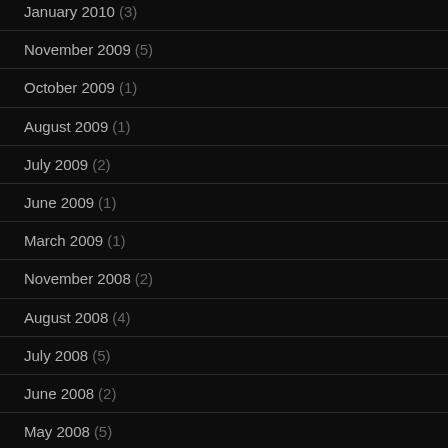January 2010 (3)
November 2009 (5)
October 2009 (1)
August 2009 (1)
July 2009 (2)
June 2009 (1)
March 2009 (1)
November 2008 (2)
August 2008 (4)
July 2008 (5)
June 2008 (2)
May 2008 (5)
April 2008 (11)
March 2008 (13)